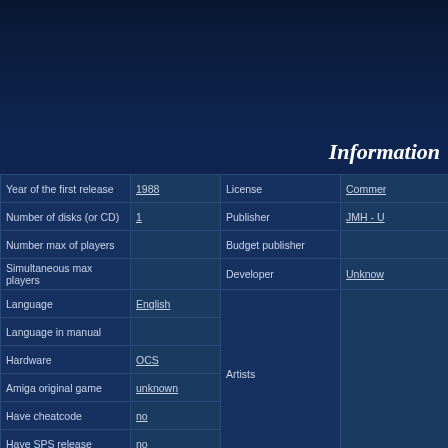[Figure (other): Dark blue header banner area]
Information
| Field | Value | Field | Value |
| --- | --- | --- | --- |
| Year of the first release | 1988 | License | Commer... |
| Number of disks (or CD) | 1 | Publisher | JMH - U... |
| Number max of players |  | Budget publisher |  |
| Simultaneous max players |  | Developer | Unknow... |
| Language | English |  |  |
| Language in manual |  |  |  |
| Hardware | OCS | Artists |  |
| Amiga original game | unknown |  |  |
| Have cheatcode | no |  |  |
| Have SPS release | no |  |  |
| WHD install | no | WHD information |  |
| HD install | unknown | HD notes |  |
| Genre |  | Conversion hardware |  |
| Category | Games | Conversion notes |  |
| Subcategory | Games - Colouring In | Classic compilation |  |
| Dimension | 2D |  |  |